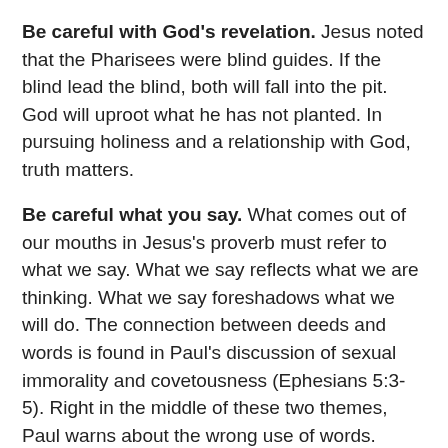Be careful with God's revelation. Jesus noted that the Pharisees were blind guides. If the blind lead the blind, both will fall into the pit. God will uproot what he has not planted. In pursuing holiness and a relationship with God, truth matters.
Be careful what you say. What comes out of our mouths in Jesus's proverb must refer to what we say. What we say reflects what we are thinking. What we say foreshadows what we will do. The connection between deeds and words is found in Paul's discussion of sexual immorality and covetousness (Ephesians 5:3-5). Right in the middle of these two themes, Paul warns about the wrong use of words. Some kinds of talk defile. Some kinds of talk sanctify.
Be careful what you think. In Jesus's explanation of his